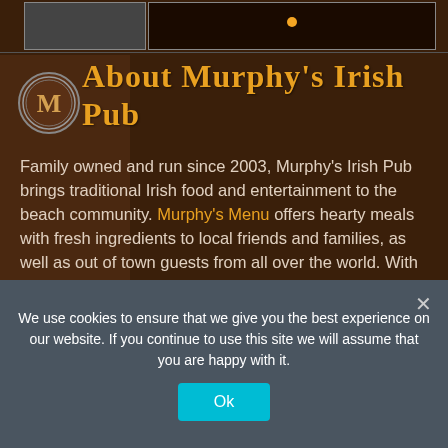[Figure (screenshot): Top portion of a webpage showing Murphy's Irish Pub with a navigation image strip at the top and an orange dot indicator]
About Murphy's Irish Pub
Family owned and run since 2003, Murphy's Irish Pub brings traditional Irish food and entertainment to the beach community. Murphy's Menu offers hearty meals with fresh ingredients to local friends and families, as well as out of town guests from all over the world. With the largest four-sided fireplace in Virginia Beach for the winter months, and a lively outdoor patio for the summer months, Murphy's is the place to be all year long.
We use cookies to ensure that we give you the best experience on our website. If you continue to use this site we will assume that you are happy with it.